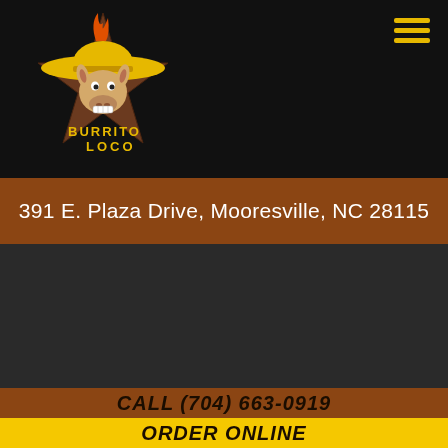[Figure (logo): Burrito Loco logo: donkey/burro wearing yellow sombrero on a brown star badge with 'BURRITO LOCO' text]
391 E. Plaza Drive, Mooresville, NC 28115
CALL (704) 663-0919
ORDER ONLINE